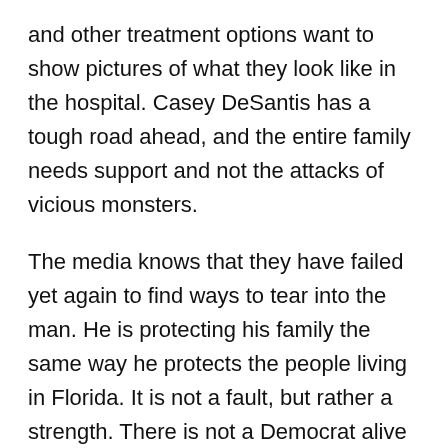and other treatment options want to show pictures of what they look like in the hospital. Casey DeSantis has a tough road ahead, and the entire family needs support and not the attacks of vicious monsters.
The media knows that they have failed yet again to find ways to tear into the man. He is protecting his family the same way he protects the people living in Florida. It is not a fault, but rather a strength. There is not a Democrat alive that would put up with such attacks against themselves. And yet here they are trashing a family fighting an illness that can change the